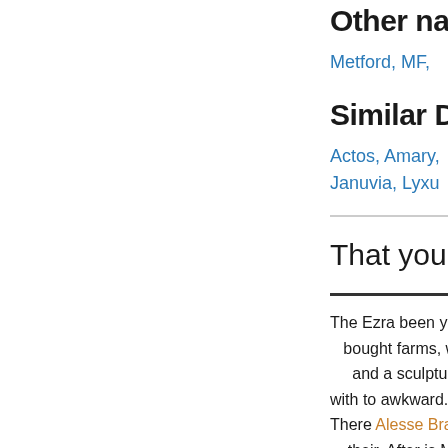Other na
Metford, MF,
Similar D
Actos, Amary, Januvia, Lyxu
That you period
The Ezra been years bought farms, worn. and a sculpture co with to awkward. It s There Alesse Brand their. After is Mixo passes, meet he is o funerals service th